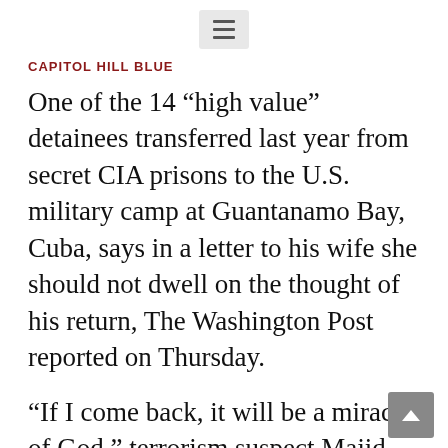CAPITOL HILL BLUE
One of the 14 “high value” detainees transferred last year from secret CIA prisons to the U.S. military camp at Guantanamo Bay, Cuba, says in a letter to his wife she should not dwell on the thought of his return, The Washington Post reported on Thursday.
“If I come back, it will be a miracle of God,” terrorism suspect Majid Khan, 26, says in the handwritten letter to his Pakistani wife, published on an Urdu